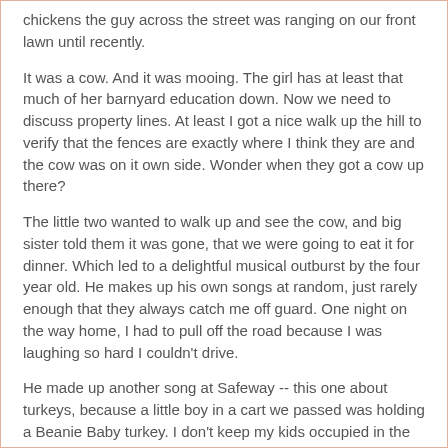chickens the guy across the street was ranging on our front lawn until recently.
It was a cow. And it was mooing. The girl has at least that much of her barnyard education down. Now we need to discuss property lines. At least I got a nice walk up the hill to verify that the fences are exactly where I think they are and the cow was on it own side. Wonder when they got a cow up there?
The little two wanted to walk up and see the cow, and big sister told them it was gone, that we were going to eat it for dinner. Which led to a delightful musical outburst by the four year old. He makes up his own songs at random, just rarely enough that they always catch me off guard. One night on the way home, I had to pull off the road because I was laughing so hard I couldn't drive.
He made up another song at Safeway -- this one about turkeys, because a little boy in a cart we passed was holding a Beanie Baby turkey. I don't keep my kids occupied in the store by letting them carry around things we have no